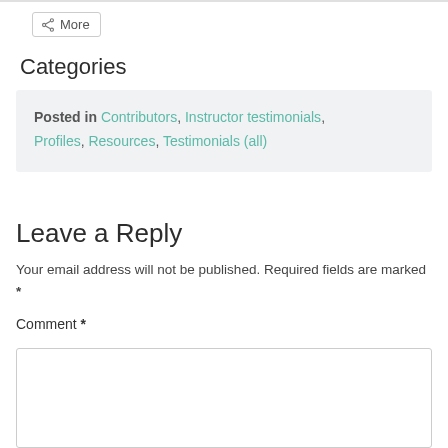More
Categories
Posted in Contributors, Instructor testimonials, Profiles, Resources, Testimonials (all)
Leave a Reply
Your email address will not be published. Required fields are marked *
Comment *